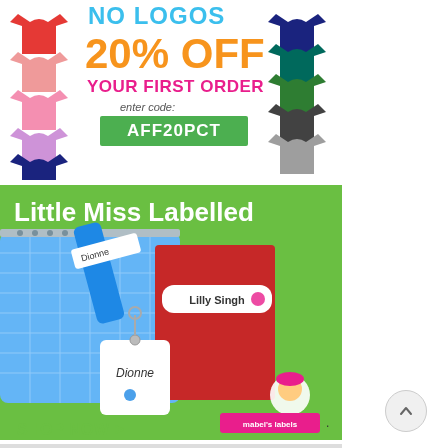[Figure (advertisement): T-shirt advertisement showing colorful t-shirts arranged on left and right sides. Text reads: NO LOGOS, 20% OFF, YOUR FIRST ORDER, enter code: AFF20PCT in a green box.]
[Figure (advertisement): Mabel's Labels advertisement with green background. Title: Little Miss Labelled. Photo shows a blue quilted bag, pencil case, and red notebook with personalized name labels reading 'Dionne' and 'Lilly Singh'. SHOP NOW > text and mabel's labels logo shown at bottom.]